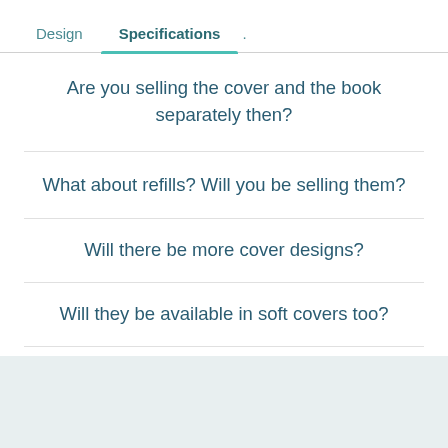Design   Specifications
Are you selling the cover and the book separately then?
What about refills? Will you be selling them?
Will there be more cover designs?
Will they be available in soft covers too?
Can I use the Transparent Sleeve for my Threadbound Notebook?